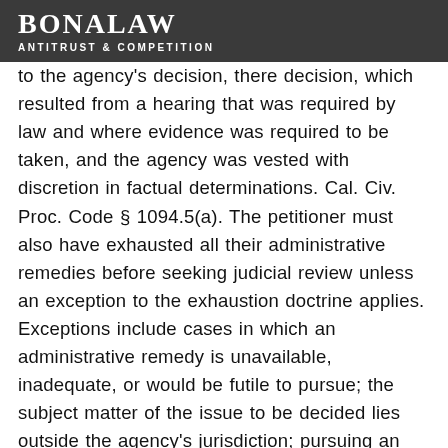BonaLaw ANTITRUST & COMPETITION
to the agency's decision, there decision, which resulted from a hearing that was required by law and where evidence was required to be taken, and the agency was vested with discretion in factual determinations. Cal. Civ. Proc. Code § 1094.5(a). The petitioner must also have exhausted all their administrative remedies before seeking judicial review unless an exception to the exhaustion doctrine applies. Exceptions include cases in which an administrative remedy is unavailable, inadequate, or would be futile to pursue; the subject matter of the issue to be decided lies outside the agency's jurisdiction; pursuing an administrative remedy would result in irreparable harm; or where the agency